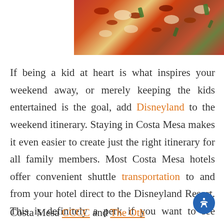[Figure (photo): Close-up photo of a pizza with tomato sauce, melted cheese, and herbs/basil leaves on top]
If being a kid at heart is what inspires your weekend away, or merely keeping the kids entertained is the goal, add Disneyland to the weekend itinerary. Staying in Costa Mesa makes it even easier to create just the right itinerary for all family members. Most Costa Mesa hotels offer convenient shuttle transportation to and from your hotel direct to the Disneyland Resort. This is definitely a perk if you want to see Minnie and Mickey while also enjoying a relaxing weekend retreat.